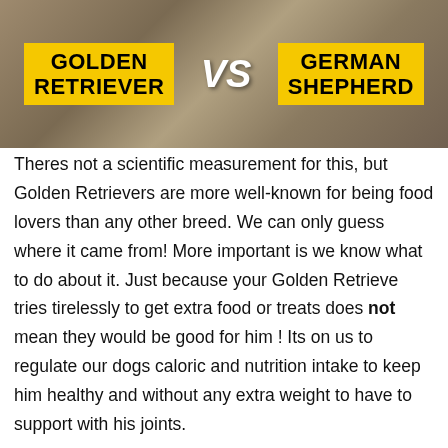[Figure (illustration): Banner image with rocky/sandy background showing 'GOLDEN RETRIEVER VS GERMAN SHEPHERD' in yellow and white bold text]
Theres not a scientific measurement for this, but Golden Retrievers are more well-known for being food lovers than any other breed. We can only guess where it came from! More important is we know what to do about it. Just because your Golden Retrieve tries tirelessly to get extra food or treats does not mean they would be good for him ! Its on us to regulate our dogs caloric and nutrition intake to keep him healthy and without any extra weight to have to support with his joints.
Here are 5Tips toHelp Satiate Your Golden Retrievers Appetite:
Toss a Couple of Tennis Balls into Your Dogs Food Bowl